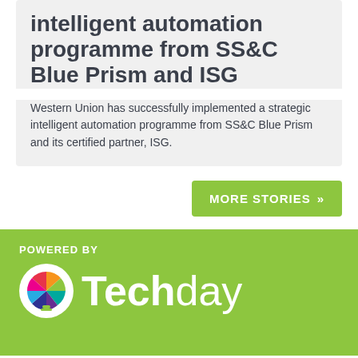intelligent automation programme from SS&C Blue Prism and ISG
Western Union has successfully implemented a strategic intelligent automation programme from SS&C Blue Prism and its certified partner, ISG.
MORE STORIES »
POWERED BY
[Figure (logo): Techday logo with colourful lightbulb icon and white wordmark on green background]